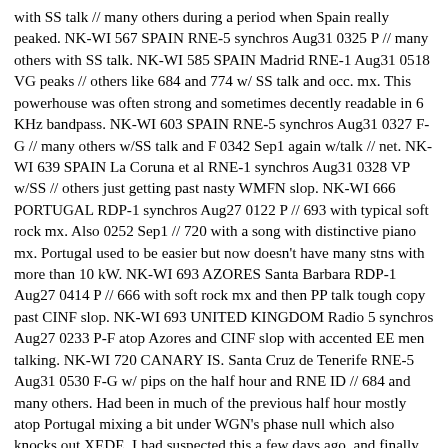with SS talk // many others during a period when Spain really peaked. NK-WI 567 SPAIN RNE-5 synchros Aug31 0325 P // many others with SS talk. NK-WI 585 SPAIN Madrid RNE-1 Aug31 0518 VG peaks // others like 684 and 774 w/ SS talk and occ. mx. This powerhouse was often strong and sometimes decently readable in 6 KHz bandpass. NK-WI 603 SPAIN RNE-5 synchros Aug31 0327 F-G // many others w/SS talk and F 0342 Sep1 again w/talk // net. NK-WI 639 SPAIN La Coruna et al RNE-1 synchros Aug31 0328 VP w/SS // others just getting past nasty WMFN slop. NK-WI 666 PORTUGAL RDP-1 synchros Aug27 0122 P // 693 with typical soft rock mx. Also 0252 Sep1 // 720 with a song with distinctive piano mx. Portugal used to be easier but now doesn't have many stns with more than 10 kW. NK-WI 693 AZORES Santa Barbara RDP-1 Aug27 0414 P // 666 with soft rock mx and then PP talk tough copy past CINF slop. NK-WI 693 UNITED KINGDOM Radio 5 synchros Aug27 0233 P-F atop Azores and CINF slop with accented EE men talking. NK-WI 720 CANARY IS. Santa Cruz de Tenerife RNE-5 Aug31 0530 F-G w/ pips on the half hour and RNE ID // 684 and many others. Had been in much of the previous half hour mostly atop Portugal mixing a bit under WGN's phase null which also knocks out XEDE. I had suspected this a few days ago, and finally nailed it down for certain. I don't miss CHTN one bit ! NEW!! NK-WI 729 SPAIN Oviedo et al RNE-5 synchros Aug31 0521 VP with SS talk // many others. NK-WI 738 SPAIN Barcelona RNE-1 Aug31 0520